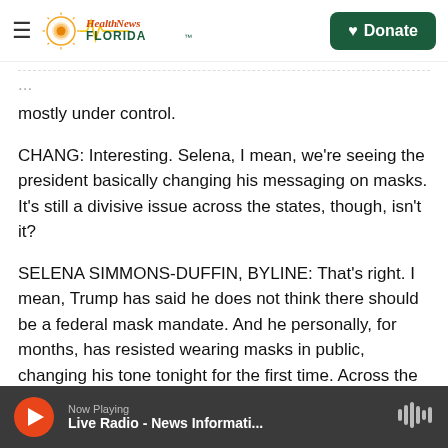Health News Florida — Donate
mostly under control.
CHANG: Interesting. Selena, I mean, we're seeing the president basically changing his messaging on masks. It's still a divisive issue across the states, though, isn't it?
SELENA SIMMONS-DUFFIN, BYLINE: That's right. I mean, Trump has said he does not think there should be a federal mask mandate. And he personally, for months, has resisted wearing masks in public, changing his tone tonight for the first time. Across the country, as you said, there have
Now Playing — Live Radio - News Informati...